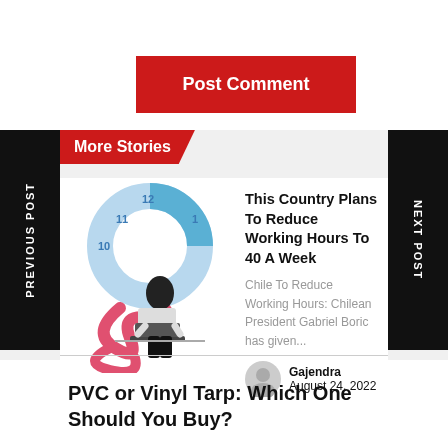[Figure (other): Red 'Post Comment' button]
More Stories
[Figure (illustration): Woman sitting at laptop with clock graphic and decorative swirls]
This Country Plans To Reduce Working Hours To 40 A Week
Chile To Reduce Working Hours: Chilean President Gabriel Boric has given...
Gajendra
August 24, 2022
PVC or Vinyl Tarp: Which One Should You Buy?